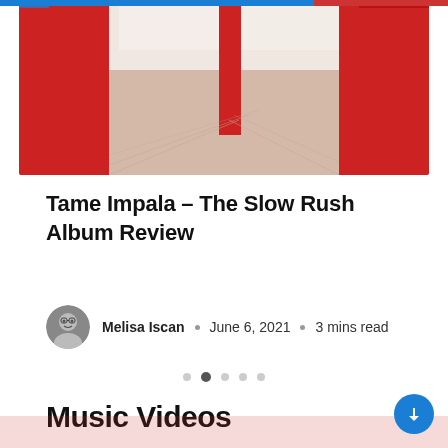[Figure (photo): Photo of an interior architectural space with red walls and sandy floor, viewed through archways, bright natural light]
Tame Impala – The Slow Rush Album Review
Melisa Iscan · June 6, 2021 · 3 mins read
Music Videos